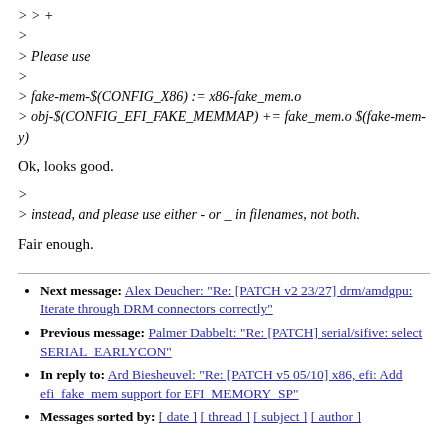> > +
>
> Please use
>
> fake-mem-$(CONFIG_X86) := x86-fake_mem.o
> obj-$(CONFIG_EFI_FAKE_MEMMAP) += fake_mem.o $(fake-mem-y)
Ok, looks good.
>
> instead, and please use either - or _ in filenames, not both.
Fair enough.
Next message: Alex Deucher: "Re: [PATCH v2 23/27] drm/amdgpu: Iterate through DRM connectors correctly"
Previous message: Palmer Dabbelt: "Re: [PATCH] serial/sifive: select SERIAL_EARLYCON"
In reply to: Ard Biesheuvel: "Re: [PATCH v5 05/10] x86, efi: Add efi_fake_mem support for EFI_MEMORY_SP"
Messages sorted by: [ date ] [ thread ] [ subject ] [ author ]